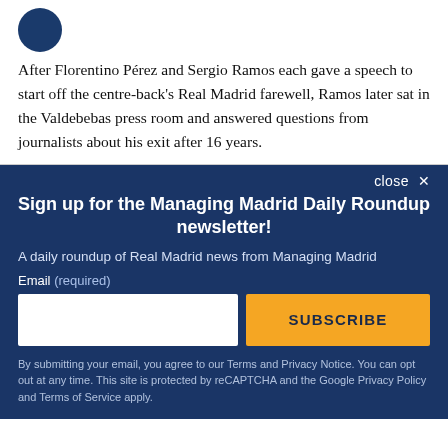[Figure (logo): Circular dark blue logo partially visible at top left]
After Florentino Pérez and Sergio Ramos each gave a speech to start off the centre-back's Real Madrid farewell, Ramos later sat in the Valdebebas press room and answered questions from journalists about his exit after 16 years.
close ×
Sign up for the Managing Madrid Daily Roundup newsletter!
A daily roundup of Real Madrid news from Managing Madrid
Email (required)
SUBSCRIBE
By submitting your email, you agree to our Terms and Privacy Notice. You can opt out at any time. This site is protected by reCAPTCHA and the Google Privacy Policy and Terms of Service apply.